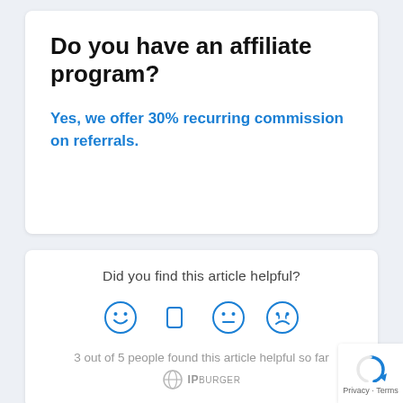Do you have an affiliate program?
Yes, we offer 30% recurring commission on referrals.
Did you find this article helpful?
[Figure (illustration): Four emoji feedback icons: happy face, thumbs up, neutral face, sad/disappointed face — all in blue outline style]
3 out of 5 people found this article helpful so far
IPBurger logo